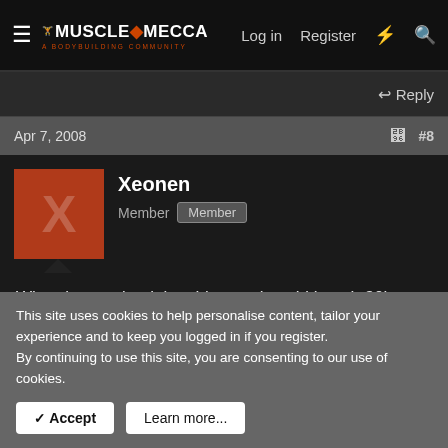MuscleMecca — Log in | Register
Reply
Apr 7, 2008  #8
Xeonen
Member Member
When i started training this year i could bench 30kg, this is about 2 months ago...now i can bench 50kg with up to 12 reps without a spotter...

my weight is 58kg btw lol...
This site uses cookies to help personalise content, tailor your experience and to keep you logged in if you register.
By continuing to use this site, you are consenting to our use of cookies.
Accept  Learn more...